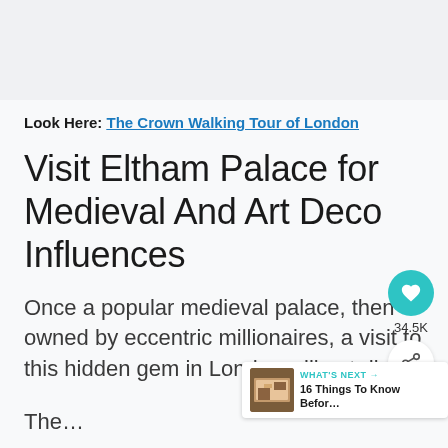Look Here: The Crown Walking Tour of London
Visit Eltham Palace for Medieval And Art Deco Influences
Once a popular medieval palace, then owned by eccentric millionaires, a visit to this hidden gem in London will not disa…
The…